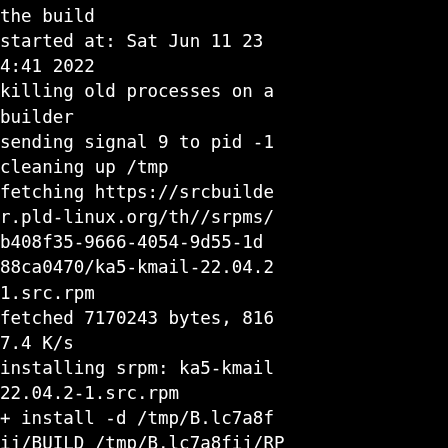the build
started at: Sat Jun 11 23
4:41 2022
killing old processes on a
builder
sending signal 9 to pid -1
cleaning up /tmp
fetching https://srcbuilde
r.pld-linux.org/th//srpms/
b408f35-9666-4054-9d55-1d
88ca0470/ka5-kmail-22.04.2
1.src.rpm
fetched 7170243 bytes, 816
7.4 K/s
installing srpm: ka5-kmail
22.04.2-1.src.rpm
+ install -d /tmp/B.lc7a8f
ij/BUILD /tmp/B.lc7a8fij/RP
S
+ LC_ALL=en_US.UTF-8
+ rpm -qp --changelog ka5-
mail-22.04.2-1.src.rpm
* Sat Jun 11 2022 PLD Linu
Team <feedback@pld-linux.o